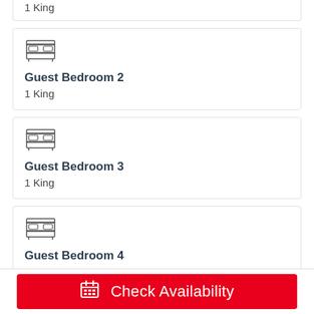1 King
[Figure (illustration): Bed icon for Guest Bedroom 2]
Guest Bedroom 2
1 King
[Figure (illustration): Bed icon for Guest Bedroom 3]
Guest Bedroom 3
1 King
[Figure (illustration): Bed icon for Guest Bedroom 4]
Guest Bedroom 4
2 Queens
Description
Check Availability